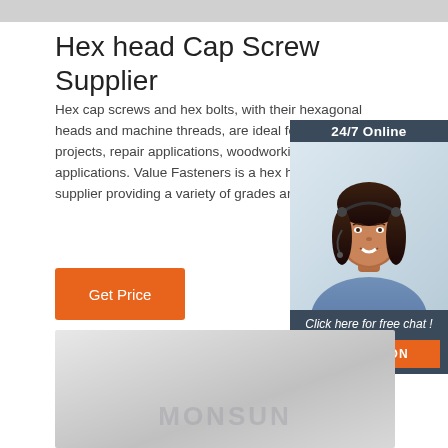Hex head Cap Screw Supplier
Hex cap screws and hex bolts, with their hexagonal heads and machine threads, are ideal for construction projects, repair applications, woodworking, and industrial applications. Value Fasteners is a hex head cap screw supplier providing a variety of grades and …
[Figure (other): Orange 'Get Price' button]
[Figure (other): 24/7 Online chat widget with photo of woman wearing headset, 'Click here for free chat!' text, and orange QUOTATION button]
[Figure (other): Grey product image area with MONSUN watermark text]